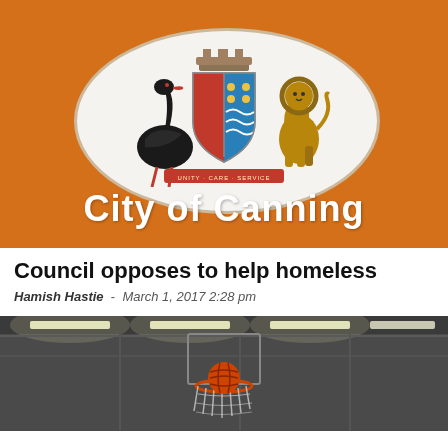[Figure (photo): City of Canning sign on an orange wall, showing the city coat of arms in a white oval, with 'City of Canning' text in white below]
Council opposes to help homeless
Hamish Hastie  -  March 1, 2017 2:28 pm
[Figure (photo): Indoor basketball court ceiling with fluorescent lights and a basketball going through a hoop]